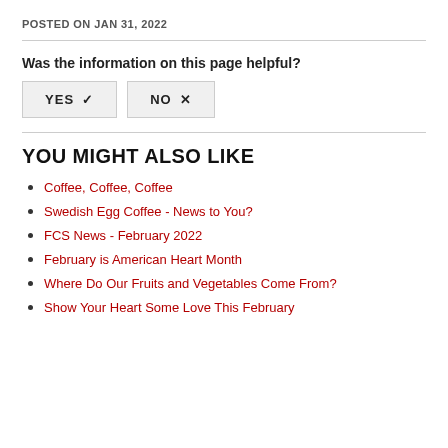POSTED ON JAN 31, 2022
Was the information on this page helpful?
YES ✓   NO ×
YOU MIGHT ALSO LIKE
Coffee, Coffee, Coffee
Swedish Egg Coffee - News to You?
FCS News - February 2022
February is American Heart Month
Where Do Our Fruits and Vegetables Come From?
Show Your Heart Some Love This February